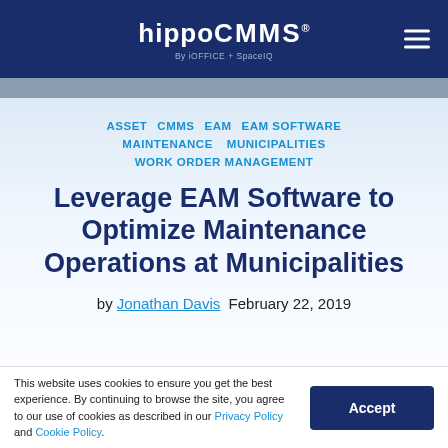hippo CMMS — By iOFFICE + SpaceIQ
ASSET  CMMS  EAM  EAM SOFTWARE  MAINTENANCE  MUNICIPALITIES  WORK ORDER MANAGEMENT
Leverage EAM Software to Optimize Maintenance Operations at Municipalities
by Jonathan Davis  February 22, 2019
This website uses cookies to ensure you get the best experience. By continuing to browse the site, you agree to our use of cookies as described in our Privacy Policy and Cookie Policy.